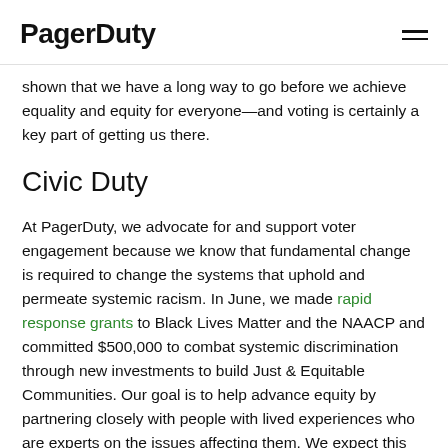PagerDuty
shown that we have a long way to go before we achieve equality and equity for everyone—and voting is certainly a key part of getting us there.
Civic Duty
At PagerDuty, we advocate for and support voter engagement because we know that fundamental change is required to change the systems that uphold and permeate systemic racism. In June, we made rapid response grants to Black Lives Matter and the NAACP and committed $500,000 to combat systemic discrimination through new investments to build Just & Equitable Communities. Our goal is to help advance equity by partnering closely with people with lived experiences who are experts on the issues affecting them. We expect this will broaden our focus from voter engagement to